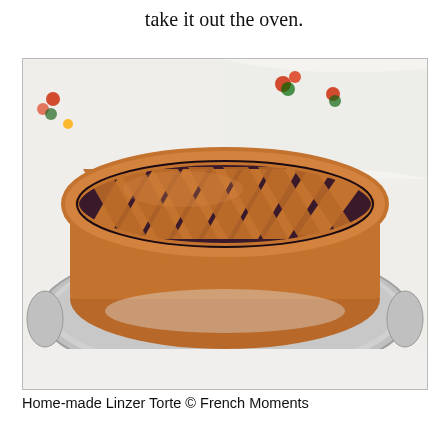take it out the oven.
[Figure (photo): A home-made Linzer Torte with lattice pastry crust on a silver serving platter, with a decorative cloth in the background]
Home-made Linzer Torte © French Moments